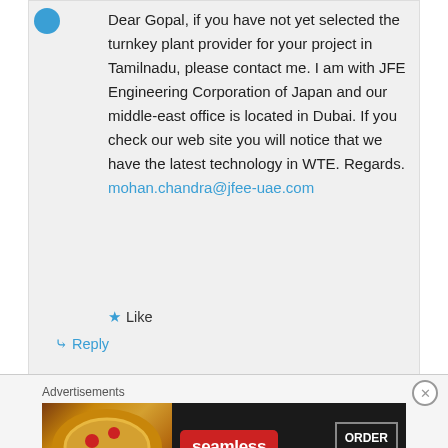Dear Gopal, if you have not yet selected the turnkey plant provider for your project in Tamilnadu, please contact me. I am with JFE Engineering Corporation of Japan and our middle-east office is located in Dubai. If you check our web site you will notice that we have the latest technology in WTE. Regards. mohan.chandra@jfee-uae.com
★ Like
↳ Reply
Advertisements
[Figure (other): Seamless food delivery advertisement banner with pizza image on left, red Seamless logo in center, and ORDER NOW button on right against dark background]